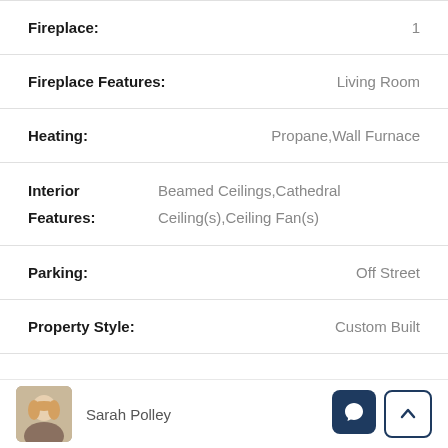| Field | Value |
| --- | --- |
| Fireplace: | 1 |
| Fireplace Features: | Living Room |
| Heating: | Propane,Wall Furnace |
| Interior Features: | Beamed Ceilings,Cathedral Ceiling(s),Ceiling Fan(s) |
| Parking: | Off Street |
| Property Style: | Custom Built |
Sarah Polley